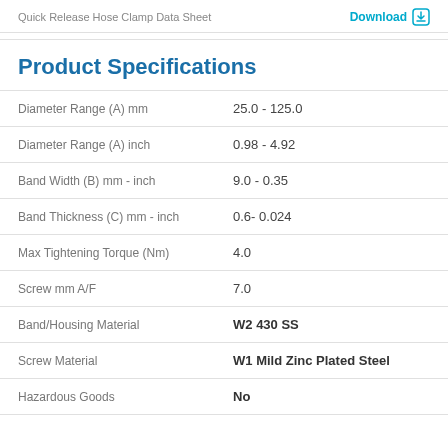Quick Release Hose Clamp Data Sheet   Download
Product Specifications
| Specification | Value |
| --- | --- |
| Diameter Range (A) mm | 25.0 - 125.0 |
| Diameter Range (A) inch | 0.98 - 4.92 |
| Band Width (B) mm - inch | 9.0 - 0.35 |
| Band Thickness (C) mm - inch | 0.6- 0.024 |
| Max Tightening Torque (Nm) | 4.0 |
| Screw mm A/F | 7.0 |
| Band/Housing Material | W2 430 SS |
| Screw Material | W1 Mild Zinc Plated Steel |
| Hazardous Goods | No |